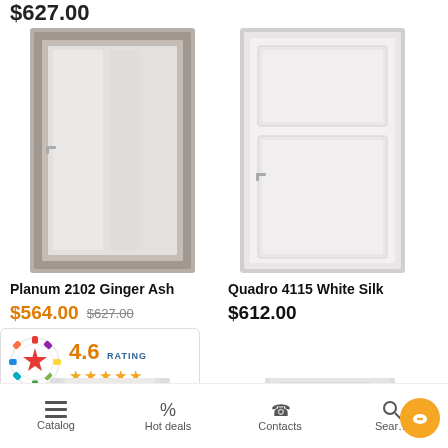$627.00
[Figure (photo): Interior door - Planum 2102 Ginger Ash, tall gray wood frame with full-length frosted glass panel and silver handle]
Planum 2102 Ginger Ash
$564.00  $627.00
[Figure (photo): Interior door - Quadro 4115 White Silk, white door with single raised panel and silver handle]
Quadro 4115 White Silk
$612.00
[Figure (infographic): Rating badge showing 4.6 RATING with 4.5 gold stars and a colorful gear/star logo]
Catalog   Hot deals   Contacts   Search